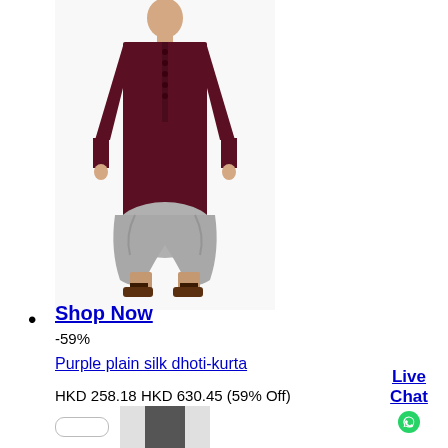[Figure (photo): Man wearing a dark maroon/purple plain silk kurta with grey dhoti pants and brown sandals, standing against a white background.]
Shop Now
-59%
Purple plain silk dhoti-kurta
HKD 258.18 HKD 630.45 (59% Off)
[Figure (photo): Partial preview of next product at the bottom of the page.]